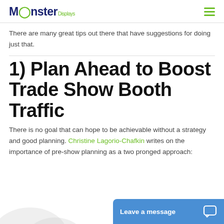Monster Displays
There are many great tips out there that have suggestions for doing just that.
1) Plan Ahead to Boost Trade Show Booth Traffic
There is no goal that can hope to be achievable without a strategy and good planning. Christine Lagorio-Chafkin writes on the importance of pre-show planning as a two pronged approach: